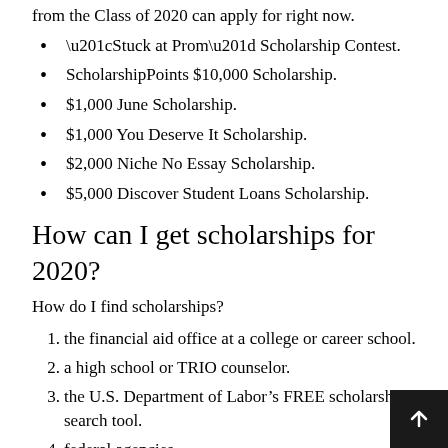from the Class of 2020 can apply for right now.
“Stuck at Prom” Scholarship Contest.
ScholarshipPoints $10,000 Scholarship.
$1,000 June Scholarship.
$1,000 You Deserve It Scholarship.
$2,000 Niche No Essay Scholarship.
$5,000 Discover Student Loans Scholarship.
How can I get scholarships for 2020?
How do I find scholarships?
the financial aid office at a college or career school.
a high school or TRIO counselor.
the U.S. Department of Labor’s FREE scholarship search tool.
federal agencies.